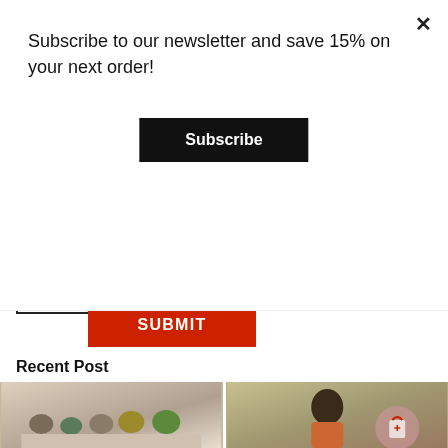Subscribe to our newsletter and save 15% on your next order!
Subscribe
use coupon for 25% off after signing up!
Sign up for our newsletter!
SUBMIT
Recent Post
[Figure (photo): Group of women sitting on sofas in a bright lounge/living room setting]
[Figure (photo): Woman with curly hair shopping/looking at phone outdoors in a city/market setting]